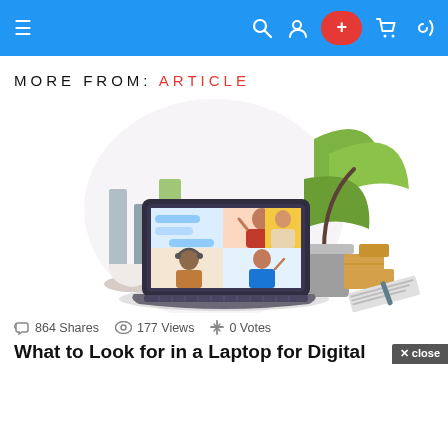Navigation bar with hamburger menu, search, user, plus, cart, and dark mode icons
MORE FROM: ARTICLE
[Figure (illustration): Illustration of a laptop showing a video conference call with four participants on screen, surrounded by plants, boxes, a coffee cup, and a notebook]
864 Shares   177 Views   0 Votes
What to Look for in a Laptop for Digital